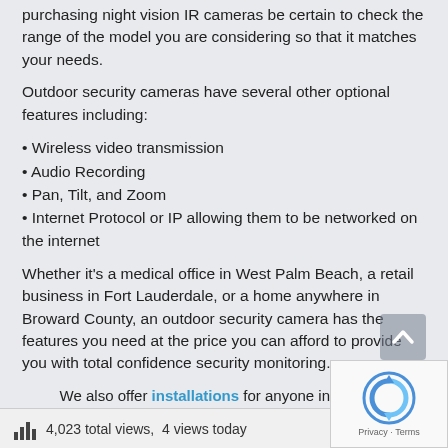purchasing night vision IR cameras be certain to check the range of the model you are considering so that it matches your needs.
Outdoor security cameras have several other optional features including:
• Wireless video transmission
• Audio Recording
• Pan, Tilt, and Zoom
• Internet Protocol or IP allowing them to be networked on the internet
Whether it's a medical office in West Palm Beach, a retail business in Fort Lauderdale, or a home anywhere in Broward County, an outdoor security camera has the features you need at the price you can afford to provide you with total confidence security monitoring.
We also offer installations for anyone interested. https://www.techprosecurity.com/installations/
4,023 total views,  4 views today